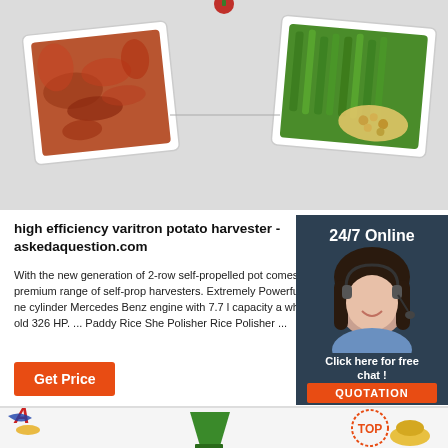[Figure (photo): Top section with food product photos on grey background - left shows dried/cured meats or dates, right shows green vegetables and grains]
high efficiency varitron potato harvester - askedaquestion.com
With the new generation of 2-row self-propelled pot comes a new era in the premium range of self-prop harvesters. Extremely Powerful It starts with the ne cylinder Mercedes Benz engine with 7.7 l capacity a which replaces the old 326 HP. ... Paddy Rice She Polisher Rice Polisher ...
[Figure (photo): 24/7 Online customer service widget with woman wearing headset, dark blue background, Click here for free chat text, and orange QUOTATION button]
Get Price
[Figure (photo): Bottom product card area showing company logo, green funnel/hopper product image, and TOP badge with corn/grain product]